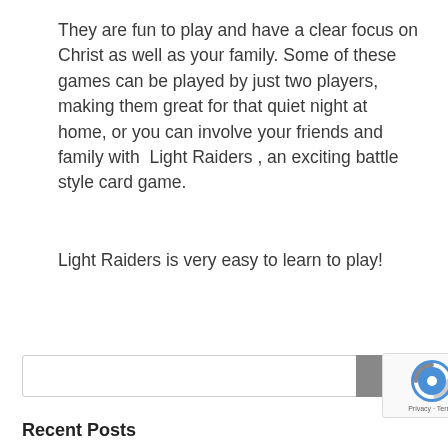They are fun to play and have a clear focus on Christ as well as your family. Some of these games can be played by just two players, making them great for that quiet night at home, or you can involve your friends and family with  Light Raiders , an exciting battle style card game.
Light Raiders is very easy to learn to play!
Recent Posts